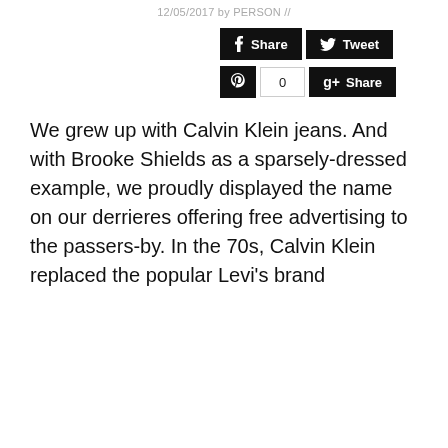12/05/2017 by PERSON //
[Figure (screenshot): Social media sharing buttons: Share (Facebook), Tweet (Twitter), Pinterest button with count 0, and Google+ Share button]
We grew up with Calvin Klein jeans. And with Brooke Shields as a sparsely-dressed example, we proudly displayed the name on our derrieres offering free advertising to the passers-by. In the 70s, Calvin Klein replaced the popular Levi's brand